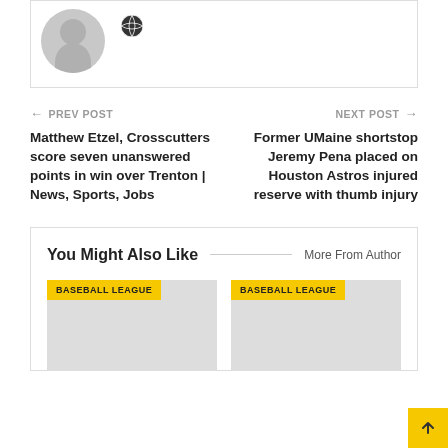[Figure (photo): User avatar placeholder (grey silhouette) with a globe/world icon to the right]
← PREV POST
Matthew Etzel, Crosscutters score seven unanswered points in win over Trenton | News, Sports, Jobs
NEXT POST →
Former UMaine shortstop Jeremy Pena placed on Houston Astros injured reserve with thumb injury
You Might Also Like
More From Author
[Figure (photo): Article thumbnail placeholder with BASEBALL LEAGUE yellow tag label]
[Figure (photo): Article thumbnail placeholder with BASEBALL LEAGUE yellow tag label]